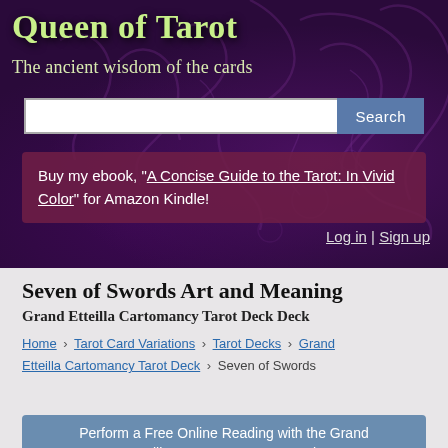Queen of Tarot
The ancient wisdom of the cards
Buy my ebook, "A Concise Guide to the Tarot: In Vivid Color" for Amazon Kindle!
Log in | Sign up
Seven of Swords Art and Meaning
Grand Etteilla Cartomancy Tarot Deck Deck
Home > Tarot Card Variations > Tarot Decks > Grand Etteilla Cartomancy Tarot Deck > Seven of Swords
Perform a Free Online Reading with the Grand Etteilla Cartomancy Tarot Deck